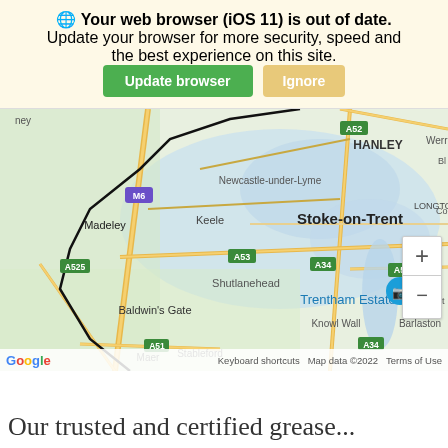🌐 Your web browser (iOS 11) is out of date. Update your browser for more security, speed and the best experience on this site. Update browser | Ignore
[Figure (map): Google Maps screenshot showing the Stoke-on-Trent / Newcastle-under-Lyme area including Trentham Estate marker, road labels (M6, A52, A53, A34, A50, A51, A525), and place names such as Stoke-on-Trent, Hanley, Madeley, Keele, Shutlanehead, Longton, Baldwin's Gate, Stableford, Knowl Wall, Barlaston, Maer, Werrin. Zoom controls (+/-) visible. Map data ©2022.]
Our trusted and certified grease...